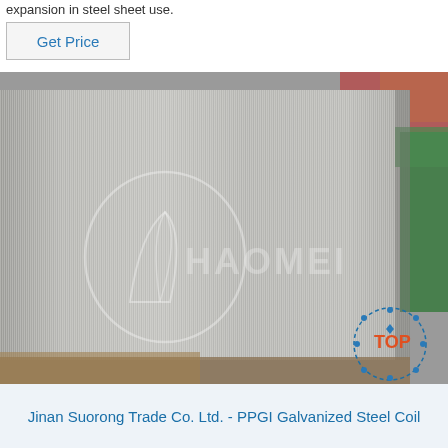expansion in steel sheet use.
Get Price
[Figure (photo): Steel sheet with brushed metallic surface finish, showing HAOMEI watermark logo. Partial view of other materials visible at edges. A 'TOP' circular badge icon visible in the lower right corner.]
Jinan Suorong Trade Co. Ltd. - PPGI Galvanized Steel Coil